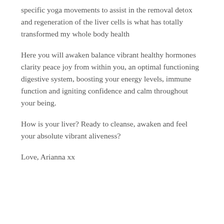specific yoga movements to assist in the removal detox and regeneration of the liver cells is what has totally transformed my whole body health
Here you will awaken balance vibrant healthy hormones clarity peace joy from within you, an optimal functioning digestive system, boosting your energy levels, immune function and igniting confidence and calm throughout your being.
How is your liver? Ready to cleanse, awaken and feel your absolute vibrant aliveness?
Love, Arianna xx